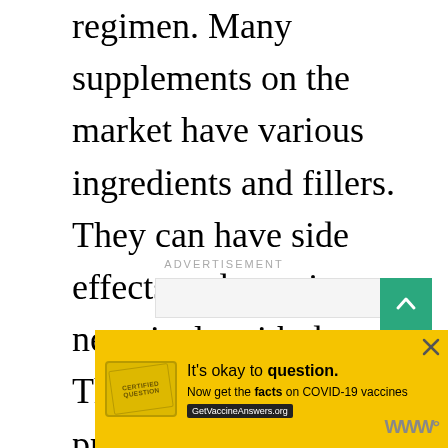regimen. Many supplements on the market have various ingredients and fillers. They can have side effects and may interact negatively with drugs. Therefore, you need proper guidance from your doctor to help you make the right decisions.
ADVERTISEMENT
[Figure (other): Advertisement placeholder box with a teal scroll-to-top button (chevron up arrow) in the top-right corner]
[Figure (other): Yellow banner advertisement: stamp icon on left, text 'It's okay to question. Now get the facts on COVID-19 vaccines GetVaccineAnswers.org', close button top-right, WW logo bottom-right]